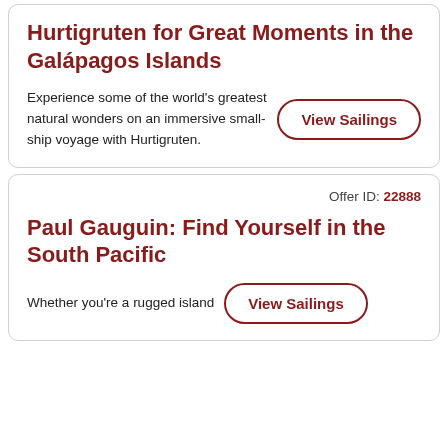Hurtigruten for Great Moments in the Galápagos Islands
Experience some of the world's greatest natural wonders on an immersive small-ship voyage with Hurtigruten.
View Sailings
Offer ID: 22888
Paul Gauguin: Find Yourself in the South Pacific
Whether you're a rugged island
View Sailings